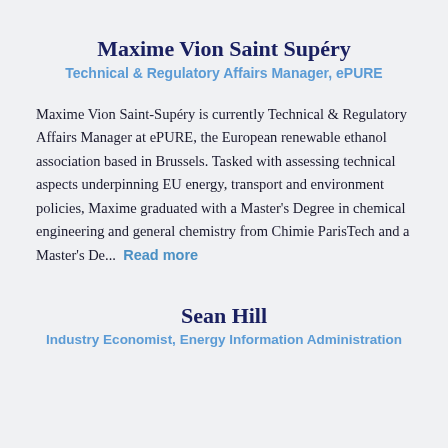Maxime Vion Saint Supéry
Technical & Regulatory Affairs Manager, ePURE
Maxime Vion Saint-Supéry is currently Technical & Regulatory Affairs Manager at ePURE, the European renewable ethanol association based in Brussels. Tasked with assessing technical aspects underpinning EU energy, transport and environment policies, Maxime graduated with a Master's Degree in chemical engineering and general chemistry from Chimie ParisTech and a Master's De...  Read more
Sean Hill
Industry Economist, Energy Information Administration